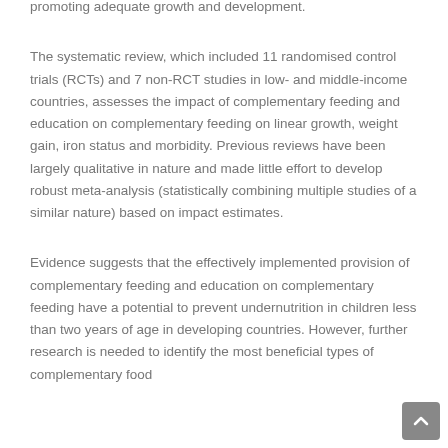promoting adequate growth and development.
The systematic review, which included 11 randomised control trials (RCTs) and 7 non-RCT studies in low- and middle-income countries, assesses the impact of complementary feeding and education on complementary feeding on linear growth, weight gain, iron status and morbidity. Previous reviews have been largely qualitative in nature and made little effort to develop robust meta-analysis (statistically combining multiple studies of a similar nature) based on impact estimates.
Evidence suggests that the effectively implemented provision of complementary feeding and education on complementary feeding have a potential to prevent undernutrition in children less than two years of age in developing countries. However, further research is needed to identify the most beneficial types of complementary food